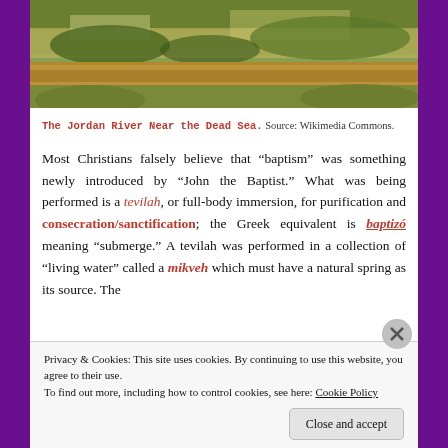[Figure (photo): Photograph of the Jordan River near the Dead Sea, showing muddy brown water and dense vegetation on the banks.]
The Jordan River Near the Dead Sea. Source: Wikimedia Commons.
Most Christians falsely believe that “baptism” was something newly introduced by “John the Baptist.” What was being performed is a tevilah, or full-body immersion, for purification and consecration/sanctification; the Greek equivalent is baptizó meaning “submerge.” A tevilah was performed in a collection of “living water” called a mikveh which must have a natural spring as its source. The
Privacy & Cookies: This site uses cookies. By continuing to use this website, you agree to their use.
To find out more, including how to control cookies, see here: Cookie Policy
Close and accept